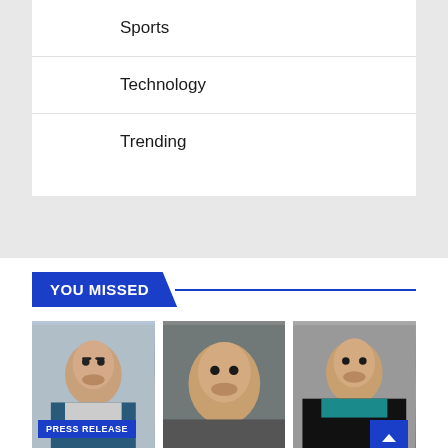Sports
Technology
Trending
YOU MISSED
[Figure (photo): Three portrait photos of people side by side, with a PRESS RELEASE badge on the first photo and partial text visible at the bottom]
PRESS RELEASE